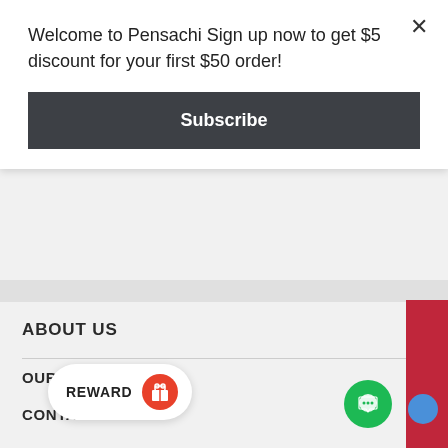Welcome to Pensachi Sign up now to get $5 discount for your first $50 order!
Subscribe
ABOUT US
OUR STORY
CONTACT US
MORE INFORMATION
PR...
[Figure (other): NOTIFY ME WHEN AVAILABLE vertical red sidebar button]
[Figure (other): REWARD button with red icon on white pill shape]
[Figure (other): Green chat bubble button]